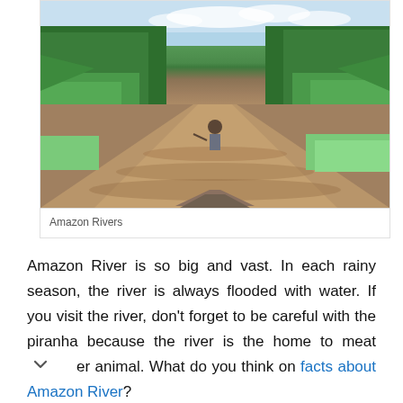[Figure (photo): A person in a canoe navigating a wide muddy brown river surrounded by lush green tropical rainforest vegetation on both banks. The river stretches into the distance with dense jungle on either side.]
Amazon Rivers
Amazon River is so big and vast. In each rainy season, the river is always flooded with water. If you visit the river, don't forget to be careful with the piranha because the river is the home to meat er animal. What do you think on facts about Amazon River?